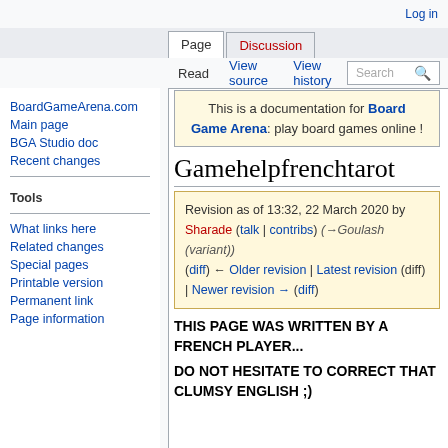Log in
Page | Discussion | Read | View source | View history | Search
BoardGameArena.com
Main page
BGA Studio doc
Recent changes
Tools
What links here
Related changes
Special pages
Printable version
Permanent link
Page information
This is a documentation for Board Game Arena: play board games online !
Gamehelpfrenchtarot
Revision as of 13:32, 22 March 2020 by Sharade (talk | contribs) (→Goulash (variant)) (diff) ← Older revision | Latest revision (diff) | Newer revision → (diff)
THIS PAGE WAS WRITTEN BY A FRENCH PLAYER...
DO NOT HESITATE TO CORRECT THAT CLUMSY ENGLISH ;)